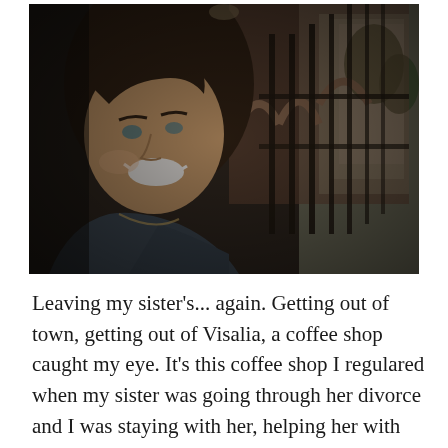[Figure (photo): A smiling woman with dark hair photographed in a coffee shop or restaurant, with decorative iron railings and brick arches visible in the background, along with trees and street visible through the window. The photo is slightly dark/underexposed.]
Leaving my sister's... again. Getting out of town, getting out of Visalia, a coffee shop caught my eye. It's this coffee shop I regulared when my sister was going through her divorce and I was staying with her, helping her with Emerson... her daughter... two at the time... four now. I sat